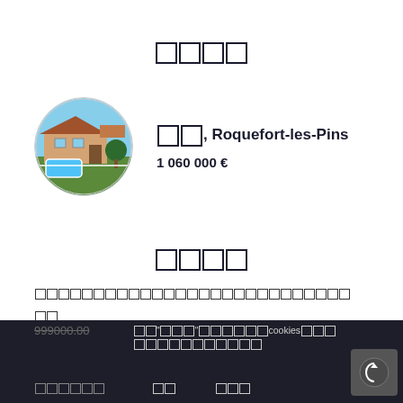□□□□
[Figure (photo): Circular thumbnail photo of a villa with pool and garden in Roquefort-les-Pins]
□□, Roquefort-les-Pins
1 060 000 €
□□□□
□□□□□□□□□□□□□□□□□□□□□□□□□
□□
999000.00  □□"□□□"□□□□□□cookies□□□□□□□□□□□□□□  □□  □□□  □□□□□□□□□□□□□□□□